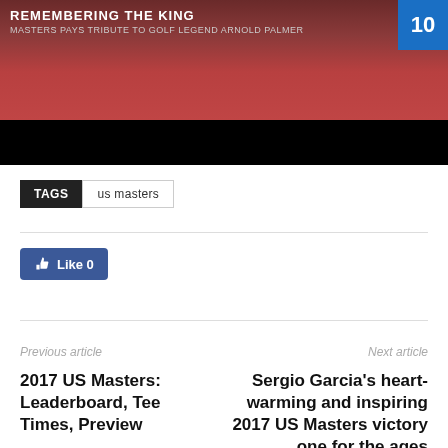[Figure (screenshot): Video thumbnail showing 'Remembering the King – Masters pays tribute to golf legend Arnold Palmer' with red background, white circular logo, blue corner with number 10, and black bar at bottom.]
TAGS  us masters
[Figure (other): Facebook Like button showing thumbs up icon and 'Like 0']
Previous article
2017 US Masters: Leaderboard, Tee Times, Preview
Next article
Sergio Garcia's heart-warming and inspiring 2017 US Masters victory one for the ages